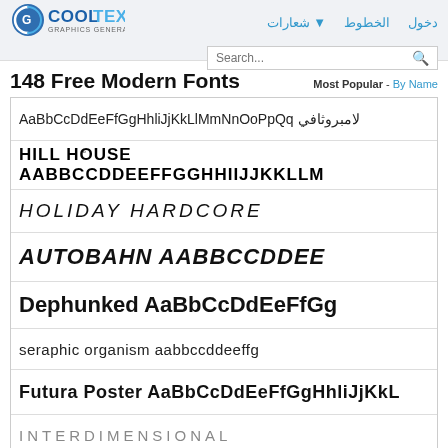[Figure (logo): CoolText Graphics Generator logo with spinning icon]
شعارات ▼  الخطوط  دخول
Search...
148 Free Modern Fonts
Most Popular - By Name
لامبروثافي AaBbCcDdEeFfGgHhliJjKkLlMmNnOoPpQq
HILL HOUSE AABBCCDDEEFFGGHHIIJJKKLLM
HOLIDAY HARDCORE
AUTOBAHN AABBCCDDEE
Dephunked AaBbCcDdEeFfGg
seraphic organism aabbccddeeffg
Futura Poster AaBbCcDdEeFfGgHhliJjKkL
INTERDIMENSIONAL
Bulgari AaBbCcDdEe FfGgHhliJjKkLlMmNn